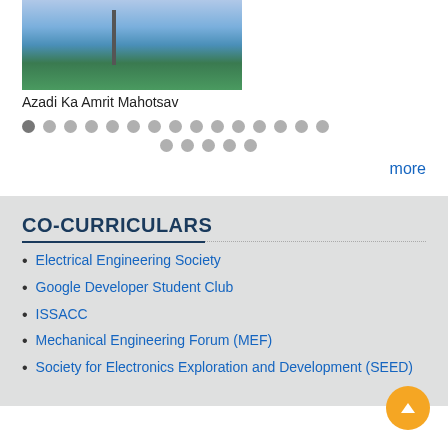[Figure (photo): Outdoor photo showing a flagpole with a flag against a blue sky with clouds and trees in the background]
Azadi Ka Amrit Mahotsav
[Figure (infographic): Two rows of pagination dots: first row has 15 dots (first one darker/active), second row has 5 dots]
more
CO-CURRICULARS
Electrical Engineering Society
Google Developer Student Club
ISSACC
Mechanical Engineering Forum (MEF)
Society for Electronics Exploration and Development (SEED)